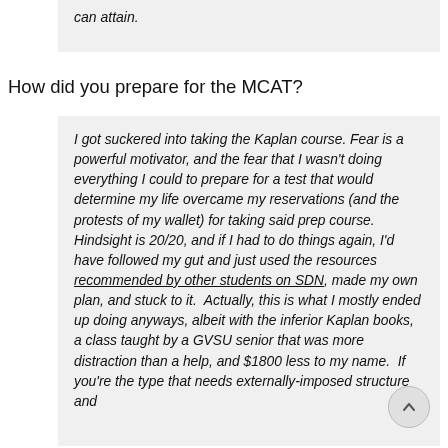can attain.
How did you prepare for the MCAT?
I got suckered into taking the Kaplan course. Fear is a powerful motivator, and the fear that I wasn't doing everything I could to prepare for a test that would determine my life overcame my reservations (and the protests of my wallet) for taking said prep course.  Hindsight is 20/20, and if I had to do things again, I'd have followed my gut and just used the resources recommended by other students on SDN, made my own plan, and stuck to it.  Actually, this is what I mostly ended up doing anyways, albeit with the inferior Kaplan books, a class taught by a GVSU senior that was more distraction than a help, and $1800 less to my name.  If you're the type that needs externally-imposed structure and